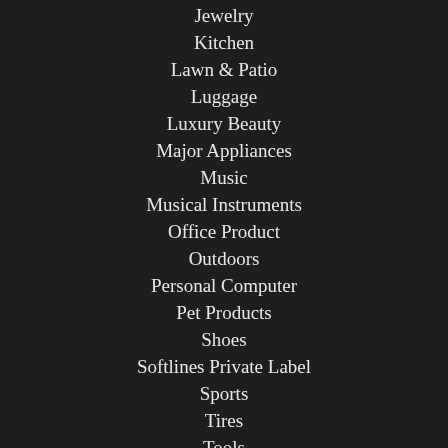Jewelry
Kitchen
Lawn & Patio
Luggage
Luxury Beauty
Major Appliances
Music
Musical Instruments
Office Product
Outdoors
Personal Computer
Pet Products
Shoes
Softlines Private Label
Sports
Tires
Tools